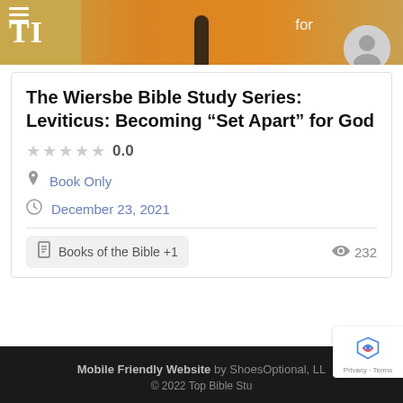[Figure (photo): Top banner image with orange/gold background and partial text 'TI', a figure silhouette in center, and 'for' text on right side. A grey avatar circle is overlaid at top right.]
The Wiersbe Bible Study Series: Leviticus: Becoming “Set Apart” for God
0.0
Book Only
December 23, 2021
Books of the Bible +1
232
Mobile Friendly Website by ShoesOptional, LLC © 2022 Top Bible Stu... Privacy · Terms